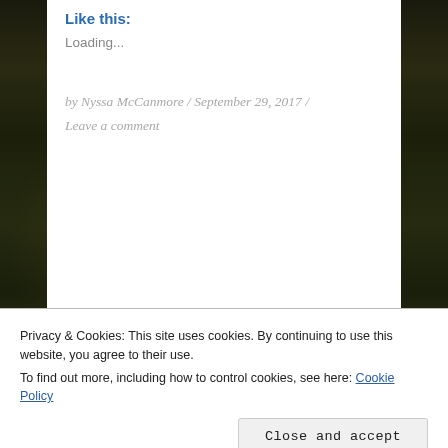Like this:
Loading...
by Nyssa McCanmore / September 29, 2017 / Leave a comment
[Figure (photo): Forest background with sunlight rays through dark trees]
Privacy & Cookies: This site uses cookies. By continuing to use this website, you agree to their use.
To find out more, including how to control cookies, see here: Cookie Policy
Close and accept